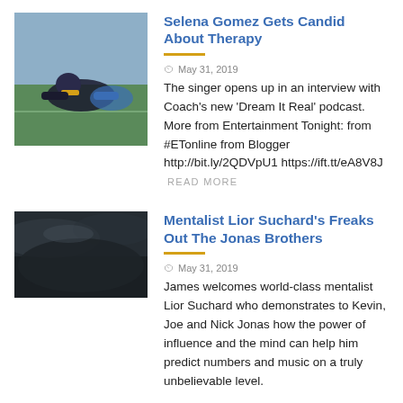[Figure (photo): Football player diving on a field, blue and white uniforms visible]
Selena Gomez Gets Candid About Therapy
May 31, 2019 The singer opens up in an interview with Coach's new 'Dream It Real' podcast. More from Entertainment Tonight: from #ETonline from Blogger http://bit.ly/2QDVpU1 https://ift.tt/eA8V8J READ MORE
[Figure (photo): Dark image, possibly a mentalist performance or night scene]
Mentalist Lior Suchard's Freaks Out The Jonas Brothers
May 31, 2019 James welcomes world-class mentalist Lior Suchard who demonstrates to Kevin, Joe and Nick Jonas how the power of influence and the mind can help him predict numbers and music on a truly unbelievable level.